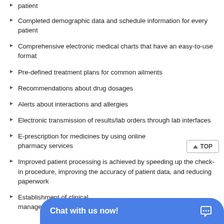patient
Completed demographic data and schedule information for every patient
Comprehensive electronic medical charts that have an easy-to-use format
Pre-defined treatment plans for common ailments
Recommendations about drug dosages
Alerts about interactions and allergies
Electronic transmission of results/lab orders through lab interfaces
E-prescription for medicines by using online pharmacy services
Improved patient processing is achieved by speeding up the check-in procedure, improving the accuracy of patient data, and reducing paperwork
Establishment of clinical... management in your...